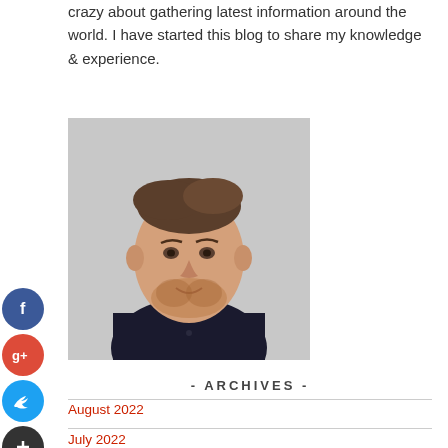crazy about gathering latest information around the world. I have started this blog to share my knowledge & experience.
[Figure (photo): Headshot of a young man with short brown hair and beard, wearing a dark shirt, against a light gray background]
- ARCHIVES -
August 2022
July 2022